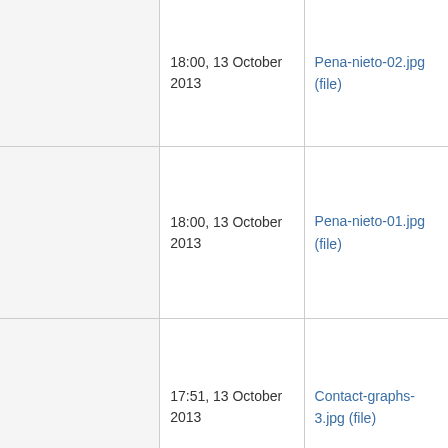|  | 18:00, 13 October 2013 | Pena-nieto-02.jpg (file) |  |
|  | 18:00, 13 October 2013 | Pena-nieto-01.jpg (file) |  |
|  | 17:51, 13 October 2013 | Contact-graphs-3.jpg (file) |  |
|  | 17:51, 13 October... | Contact-graphs-... |  |